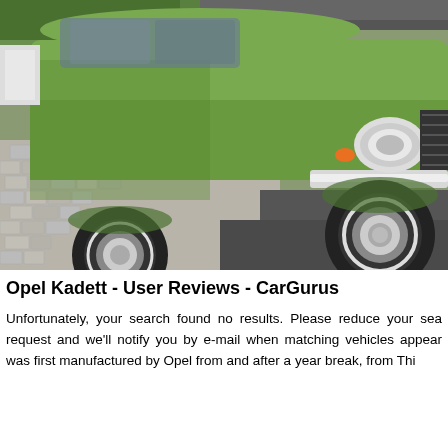[Figure (photo): A vintage green Opel Kadett car parked on a cobblestone driveway, photographed from a low angle showing the front and passenger side. Green lawn and some structures visible in background.]
Opel Kadett - User Reviews - CarGurus
Unfortunately, your search found no results. Please reduce your sea request and we'll notify you by e-mail when matching vehicles appear was first manufactured by Opel from and after a year break, from Thi